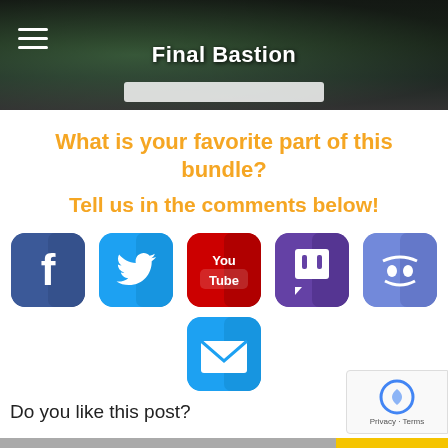Final Bastion
What is your favorite part of this bundle?
Tell us in the comments below!
[Figure (infographic): Row of 5 social media icons: Facebook (blue), Twitter (blue), YouTube (red), Twitch (purple), Discord (purple/blue), and one email icon (blue) centered below]
Do you like this post?